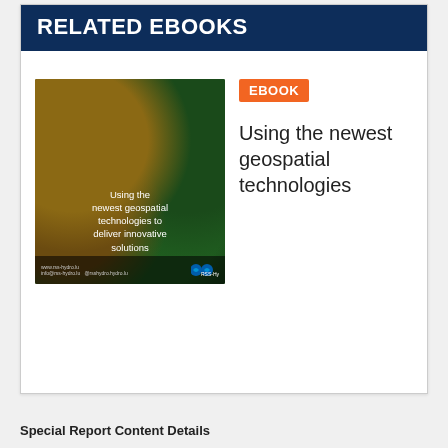RELATED EBOOKS
[Figure (illustration): Ebook badge labeled EBOOK in white text on orange background]
[Figure (photo): Ebook cover showing satellite imagery of coastline with text: Using the newest geospatial technologies to deliver innovative solutions, with RSS-Hydro logos at bottom]
Using the newest geospatial technologies
Special Report Content Details